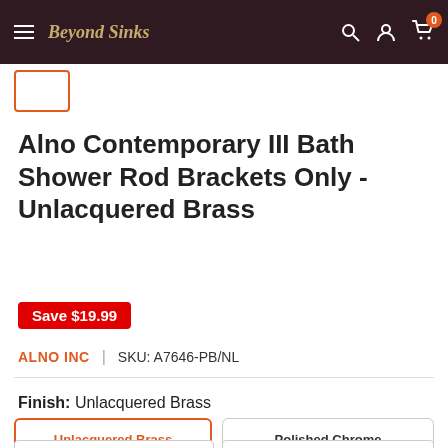Beyond Sinks – navigation bar
Alno Contemporary III Bath Shower Rod Brackets Only - Unlacquered Brass
Save $19.99
ALNO INC | SKU: A7646-PB/NL
Finish: Unlacquered Brass
Unlacquered Brass
Polished Chrome